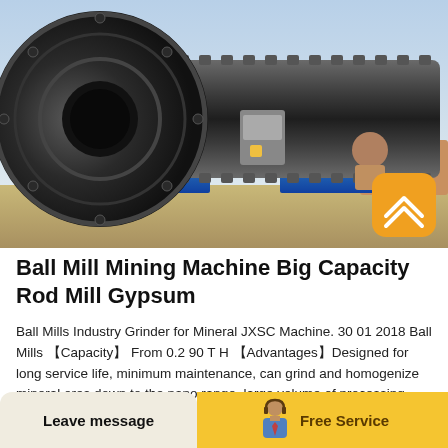[Figure (photo): Large industrial ball mill / rod mill machine photographed outdoors, showing a large cylindrical dark metal drum with flanges and bolted studs along its length, mounted on blue steel frames. A worker is partially visible in the background. An orange rounded-rectangle scroll-to-top button with a chevron icon is overlaid at bottom-right.]
Ball Mill Mining Machine Big Capacity Rod Mill Gypsum
Ball Mills Industry Grinder for Mineral JXSC Machine. 30 01 2018 Ball Mills 【Capacity】 From 0.2 90 T H 【Advantages】Designed for long service life, minimum maintenance, can grind and homogenize mineral ores down to the nano range, large volume of processing capacity 【Max Feeding...
Leave message   Free Service